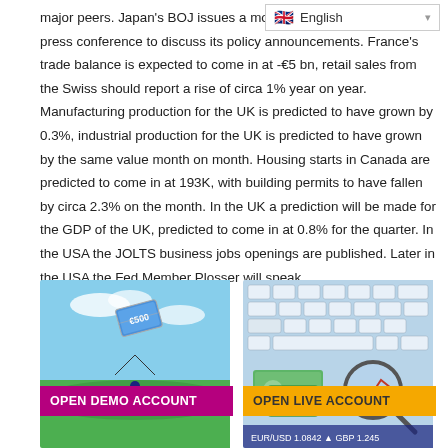major peers. Japan's BOJ issues a monetary policy statement later in the day hold a press conference to discuss its policy announcements. France's trade balance is expected to come in at -€5 bn, retail sales from the Swiss should report a rise of circa 1% year on year. Manufacturing production for the UK is predicted to have grown by 0.3%, industrial production for the UK is predicted to have grown by the same value month on month. Housing starts in Canada are predicted to come in at 193K, with building permits to have fallen by circa 2.3% on the month. In the UK a prediction will be made for the GDP of the UK, predicted to come in at 0.8% for the quarter. In the USA the JOLTS business jobs openings are published. Later in the USA the Fed Member Plosser will speak.
[Figure (photo): Open Demo Account banner with euro banknote kite over green field and person standing]
[Figure (photo): Open Live Account banner with keyboard, magnifying glass and financial documents]